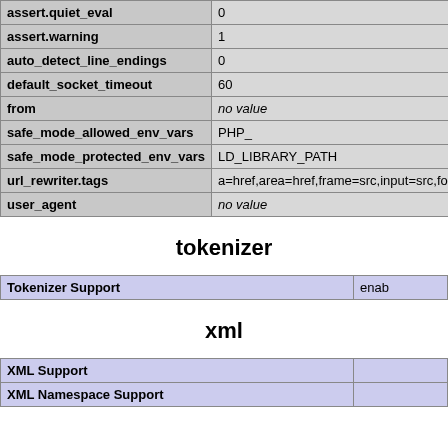|  |  |
| --- | --- |
| assert.quiet_eval | 0 |
| assert.warning | 1 |
| auto_detect_line_endings | 0 |
| default_socket_timeout | 60 |
| from | no value |
| safe_mode_allowed_env_vars | PHP_ |
| safe_mode_protected_env_vars | LD_LIBRARY_PATH |
| url_rewriter.tags | a=href,area=href,frame=src,input=src,form=,fie |
| user_agent | no value |
tokenizer
| Tokenizer Support | enab |
xml
| XML Support |  |
| XML Namespace Support |  |